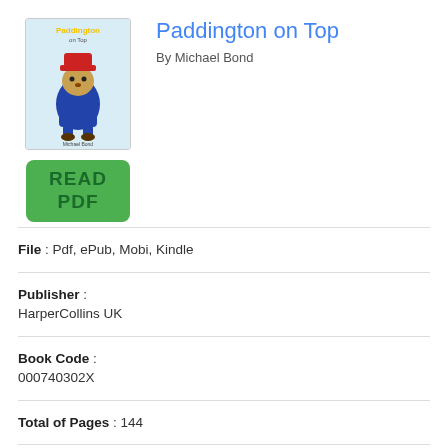[Figure (illustration): Book cover of Paddington on Top by Michael Bond showing Paddington Bear in a red hat and blue coat on a light blue background]
[Figure (other): Green button with text READ PDF]
Paddington on Top
By Michael Bond
File : Pdf, ePub, Mobi, Kindle
Publisher : HarperCollins UK
Book Code : 000740302X
Total of Pages : 144
Category : Juvenile Fiction
Members : 284